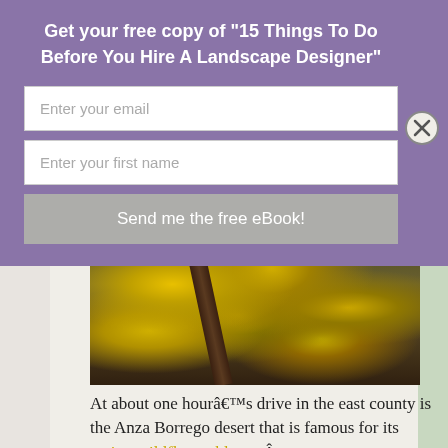Get your free copy of "15 Things To Do Before You Hire A Landscape Designer"
Enter your email
Enter your first name
Send me the free eBook!
[Figure (photo): Photo of yellow flowering plants/shrubs along a wooden path or border, desert or drought-tolerant garden setting]
At about one hourâ€™s drive in the east county is the Anza Borrego desert that is famous for its spring wildflower blooms Â